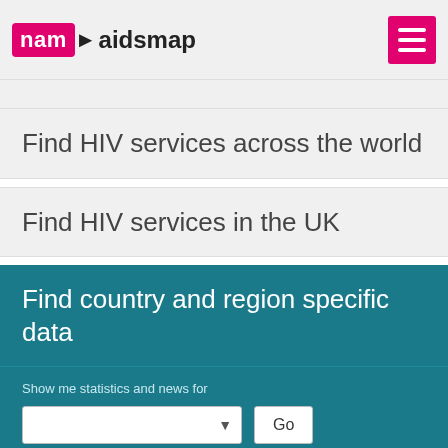nam aidsmap
Find HIV services across the world
Find HIV services in the UK
Find country and region specific data
Show me statistics and news for
Russian Federation